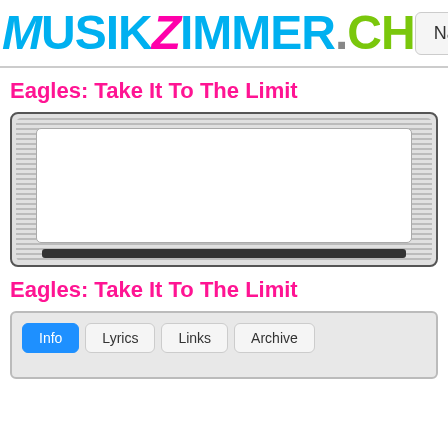MUSIKZIMMER.CH | Navi + Search
Eagles: Take It To The Limit
[Figure (other): Embedded video player box with striped grey background and white inner screen area and dark bottom progress bar]
Eagles: Take It To The Limit
[Figure (other): Info panel with tabs: Info (active, blue), Lyrics, Links, Archive]